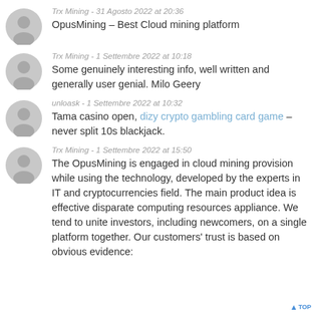Trx Mining - 31 Agosto 2022 at 20:36
OpusMining – Best Cloud mining platform
Trx Mining - 1 Settembre 2022 at 10:18
Some genuinely interesting info, well written and generally user genial. Milo Geery
unloask - 1 Settembre 2022 at 10:32
Tama casino open, dizy crypto gambling card game – never split 10s blackjack.
Trx Mining - 1 Settembre 2022 at 15:50
The OpusMining is engaged in cloud mining provision while using the technology, developed by the experts in IT and cryptocurrencies field. The main product idea is effective disparate computing resources appliance. We tend to unite investors, including newcomers, on a single platform together. Our customers' trust is based on obvious evidence: